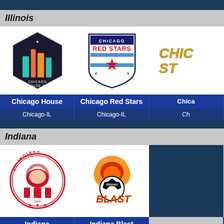Illinois
[Figure (logo): Chicago House AC logo - hexagon shape with colorful building silhouette]
[Figure (logo): Chicago Red Stars logo - shield with red star and blue stripes]
[Figure (logo): Chicago Stars logo - partially visible, gold italic text]
Chicago House
Chicago Red Stars
Chica...
Chicago-IL
Chicago-IL
Ch...
Indiana
[Figure (logo): FC Indiana logo - circular badge with lion, red and white stripes]
[Figure (logo): Indiana Blast logo - soccer ball on fire with Indiana Blast text]
Indiana
Indiana Blast
Lafayette-IN
Indianapolis-IN